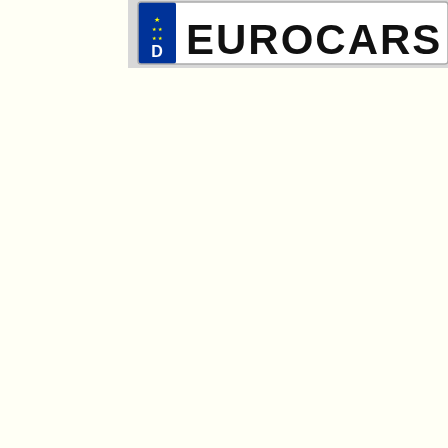[Figure (photo): Partial view of a German vehicle license plate showing the EU blue strip with letter 'D' (Deutschland) on the left side and partial text 'EUROCARS' in large black bold letters on a white plate background, set against a light gray panel background. The image is cropped showing only the top-right portion of the plate.]